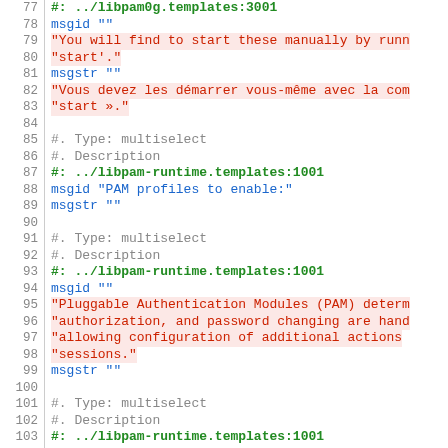Code listing: gettext/PO file lines 77-106, showing msgid/msgstr entries for libpam0g and libpam-runtime templates